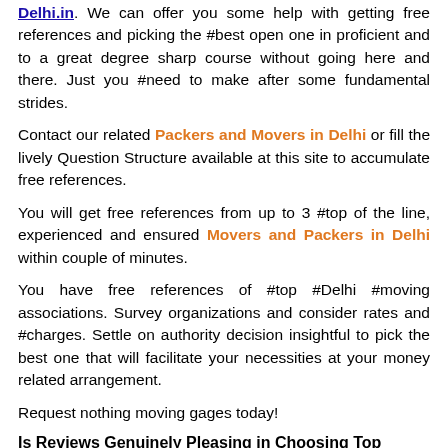Delhi.in. We can offer you some help with getting free references and picking the #best open one in proficient and to a great degree sharp course without going here and there. Just you #need to make after some fundamental strides.
Contact our related Packers and Movers in Delhi or fill the lively Question Structure available at this site to accumulate free references.
You will get free references from up to 3 #top of the line, experienced and ensured Movers and Packers in Delhi within couple of minutes.
You have free references of #top #Delhi #moving associations. Survey organizations and consider rates and #charges. Settle on authority decision insightful to pick the best one that will facilitate your necessities at your money related arrangement.
Request nothing moving gages today!
Is Reviews Genuinely Pleasing in Choosing Top